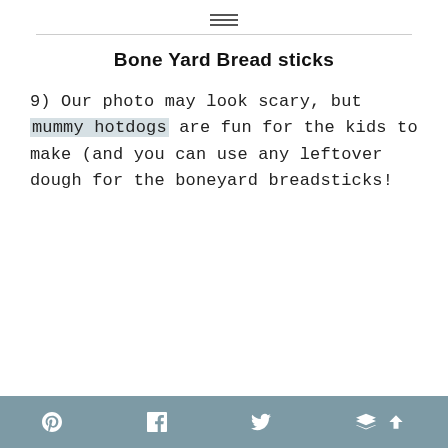Bone Yard Bread sticks
9) Our photo may look scary, but mummy hotdogs are fun for the kids to make (and you can use any leftover dough for the boneyard breadsticks!